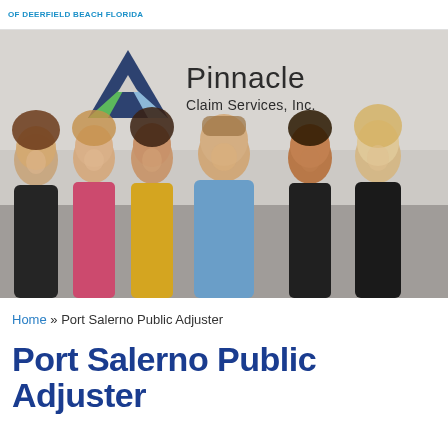OF DEERFIELD BEACH FLORIDA
[Figure (photo): Group photo of six Pinnacle Claim Services, Inc. team members standing in front of a Pinnacle Claim Services, Inc. logo on the wall. The group consists of five women and one man in the center wearing a blue shirt.]
Home » Port Salerno Public Adjuster
Port Salerno Public Adjuster